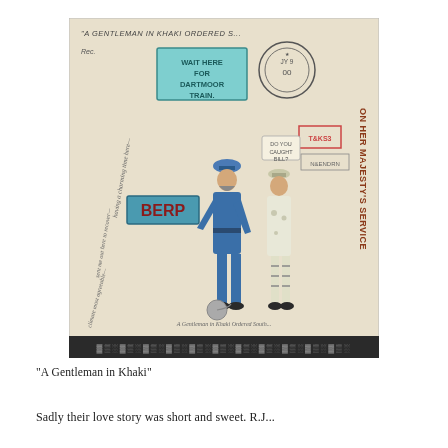[Figure (illustration): A hand-drawn and colored illustration of a postal envelope or postcard titled 'A Gentleman in Khaki Ordered South'. Features a man in blue uniform and another in khaki white uniform standing together, with a sign reading 'WAIT HERE FOR DARTMOOR TRAIN', postal stamps, text 'ON HER MAJESTY'S SERVICE', a label 'BERP', and handwritten notes on the left side. A decorative border runs along the bottom.]
"A Gentleman in Khaki"
Sadly their love story was short and sweet. R.J...